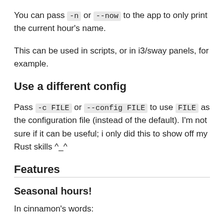You can pass -n or --now to the app to only print the current hour's name.
This can be used in scripts, or in i3/sway panels, for example.
Use a different config
Pass -c FILE or --config FILE to use FILE as the configuration file (instead of the default). I'm not sure if it can be useful; i only did this to show off my Rust skills ^_^
Features
Seasonal hours!
In cinnamon's words: